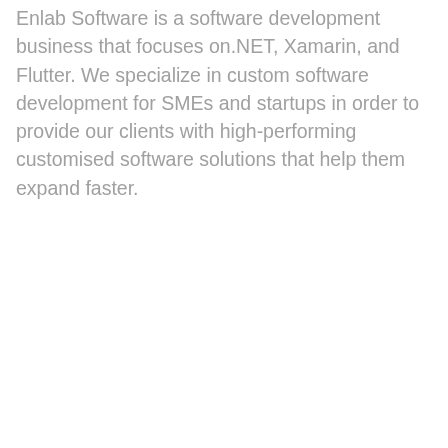Enlab Software is a software development business that focuses on.NET, Xamarin, and Flutter. We specialize in custom software development for SMEs and startups in order to provide our clients with high-performing customised software solutions that help them expand faster.